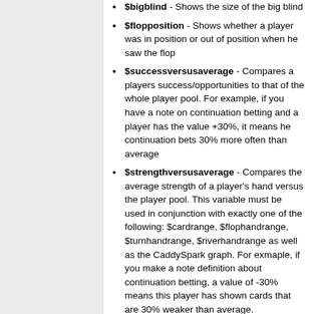$bigblind - Shows the size of the big blind
$flopposition - Shows whether a player was in position or out of position when he saw the flop
$successversusaverage - Compares a players success/opportunities to that of the whole player pool. For example, if you have a note on continuation betting and a player has the value +30%, it means he continuation bets 30% more often than average
$strengthversusaverage - Compares the average strength of a player's hand versus the player pool. This variable must be used in conjunction with exactly one of the following: $cardrange, $flophandrange, $turnhandrange, $riverhandrange as well as the CaddySpark graph. For exmaple, if you make a note definition about continuation betting, a value of -30% means this player has shown cards that are 30% weaker than average.
$winrateversusaverage - Compares the amount of money a player won in the hands that created a note versus the average amount won by the player pool in all the hands that were used to create this note across all players. This will show a percentage